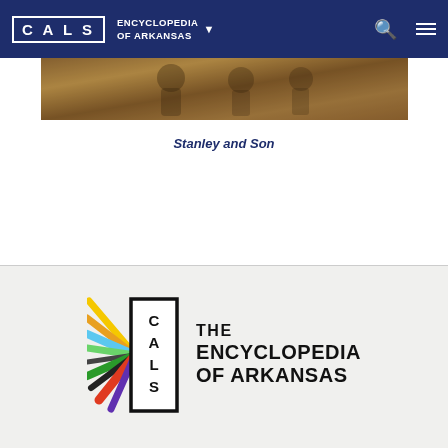CALS ENCYCLOPEDIA OF ARKANSAS
[Figure (photo): Sepia-toned historical photograph strip (partial view), appears to show people — labeled Stanley and Son]
Stanley and Son
[Figure (logo): CALS — The Encyclopedia of Arkansas logo with colorful ray design emanating from CALS vertical text in a bordered rectangle]
English